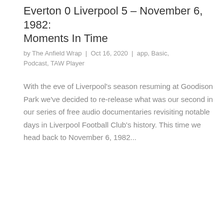Everton 0 Liverpool 5 – November 6, 1982: Moments In Time
by The Anfield Wrap | Oct 16, 2020 | app, Basic, Podcast, TAW Player
With the eve of Liverpool's season resuming at Goodison Park we've decided to re-release what was our second in our series of free audio documentaries revisiting notable days in Liverpool Football Club's history. This time we head back to November 6, 1982...